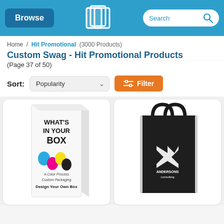Browse | [logo] | Search
Home / Hit Promotional (3000 Products)
Custom Swag - Hit Promotional Products
(Page 37 of 50)
Sort: Popularity ∨  Filter
[Figure (photo): White box product with CMYK ink drops illustration labeled 'WHAT'S IN YOUR BOX - 4-Color Process Custom Packaging - Design Your Own Box']
[Figure (photo): Black reusable tote bag with white logo 'Andersons Consulting']